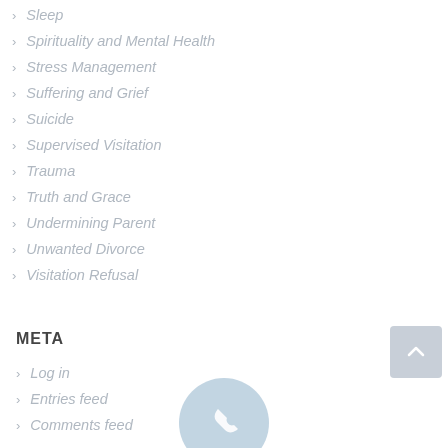Sleep
Spirituality and Mental Health
Stress Management
Suffering and Grief
Suicide
Supervised Visitation
Trauma
Truth and Grace
Undermining Parent
Unwanted Divorce
Visitation Refusal
META
Log in
Entries feed
Comments feed